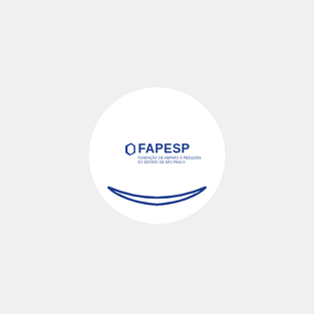[Figure (logo): FAPESP logo inside a white circle with a blue arc at the bottom. The logo shows a dark blue quadrilateral shape on the left followed by the text FAPESP in bold dark blue, with two lines of small text below reading FUNDACAO DE AMPARO A PESQUISA DO ESTADO DE SAO PAULO.]